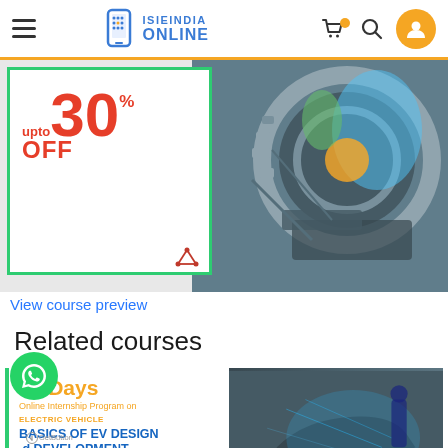ISIEINDIA ONLINE
[Figure (screenshot): Promotional banner showing 'upto 30% OFF' with a 3D CAD gear/transmission model on the right, and ANSYS logo mark.]
View course preview
Related courses
[Figure (screenshot): Course card: 30 Days Online Internship Program on ELECTRIC VEHICLE BASICS OF EV DESIGN and DEVELOPMENT, upto 60% OFF. Right side shows image of person with electric vehicle.]